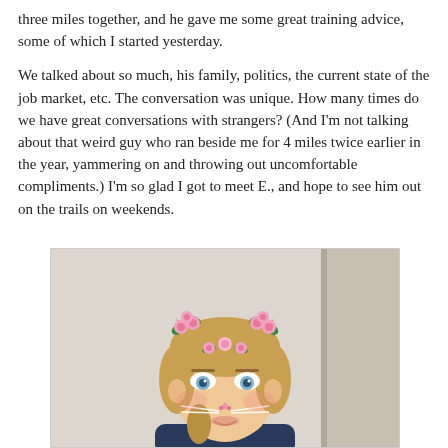three miles together, and he gave me some great training advice, some of which I started yesterday.
We talked about so much, his family, politics, the current state of the job market, etc. The conversation was unique. How many times do we have great conversations with strangers? (And I'm not talking about that weird guy who ran beside me for 4 miles twice earlier in the year, yammering on and throwing out uncomfortable compliments.) I'm so glad I got to meet E., and hope to see him out on the trails on weekends.
[Figure (photo): Selfie of a blonde woman with a Snapchat flower crown filter (pink roses on cat ears) and cat nose/whiskers overlay, taken in a bathroom mirror setting.]